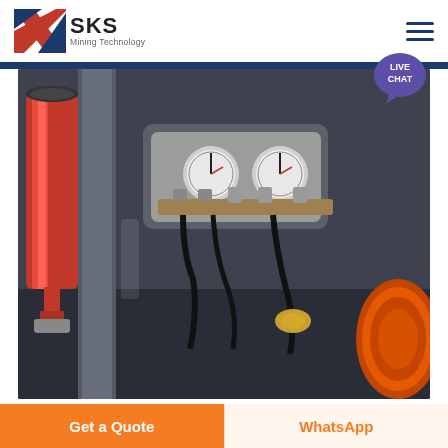SKS Mining Technology
[Figure (photo): Close-up photo of mining/drilling equipment showing a red cylindrical component on the left, pressure gauges in the center mounted on a dark metal panel, hydraulic hoses and fittings, a dark metal body, and an orange coil or drum on the right side.]
introduction mass screening
Get a Quote
WhatsApp